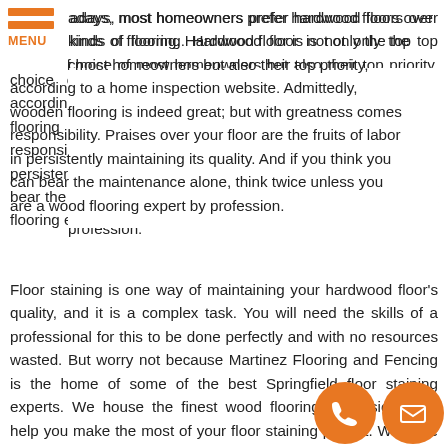MENU
adays, most homeowners prefer hardwood floors over kinds of flooring. Hardwood floor is not only the top choice of most homeowners but also their top priority, according to a home inspection website. Admittedly, wooden flooring is indeed great; but with greatness comes responsibility. Praises over your floor are the fruits of labor in persistently maintaining its quality. And if you think you can bear the maintenance alone, think twice unless you are a wood flooring expert by profession.
Floor staining is one way of maintaining your hardwood floor's quality, and it is a complex task. You will need the skills of a professional for this to be done perfectly and with no resources wasted. But worry not because Martinez Flooring and Fencing is the home of some of the best Springfield floor staining experts. We house the finest wood flooring professionals to help you make the most of your floor staining project. We have all the knowledge, skills, and means to spruce up, enliven, and make your hardwood floor last for a long time.